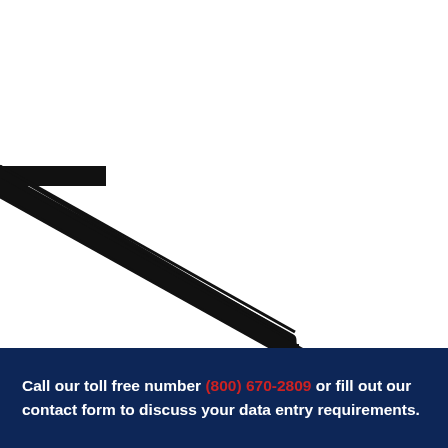[Figure (schematic): Partial diagram showing thick black L-shaped or bracket-like lines forming a stepped angular path, visible in the upper-left and center of the page, representing a structural or engineering schematic element cropped at the page edges.]
Call our toll free number (800) 670-2809 or fill out our contact form to discuss your data entry requirements.